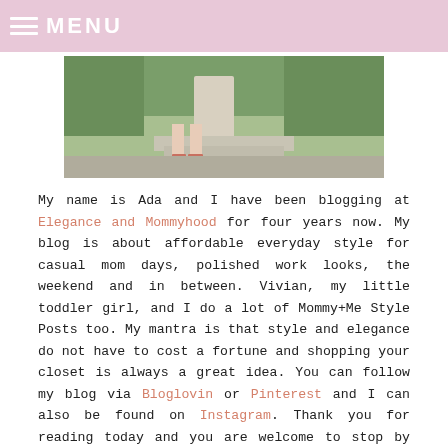MENU
[Figure (photo): Photo showing legs of a person wearing heels, standing on steps with greenery in background]
My name is Ada and I have been blogging at Elegance and Mommyhood for four years now. My blog is about affordable everyday style for casual mom days, polished work looks, the weekend and in between. Vivian, my little toddler girl, and I do a lot of Mommy+Me Style Posts too. My mantra is that style and elegance do not have to cost a fortune and shopping your closet is always a great idea. You can follow my blog via Bloglovin or Pinterest and I can also be found on Instagram. Thank you for reading today and you are welcome to stop by every Thursday and join my Style Linkup “Thursday Moda”